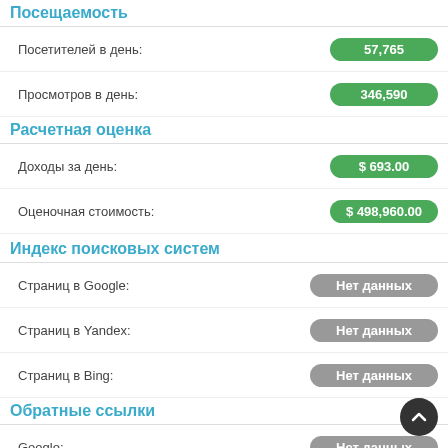Посещаемость
Посетителей в день: 57,765
Просмотров в день: 346,590
Расчетная оценка
Доходы за день: $ 693.00
Оценочная стоимость: $ 498,960.00
Индекс поисковых систем
Страниц в Google: Нет данных
Страниц в Yandex: Нет данных
Страниц в Bing: Нет данных
Обратные ссылки
Google: Нет данных
Bing: Нет данных
Alexa: Нет данных